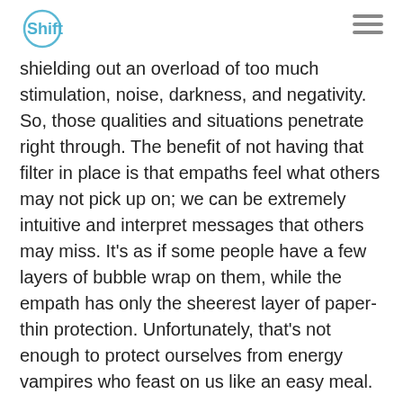Shift
shielding out an overload of too much stimulation, noise, darkness, and negativity. So, those qualities and situations penetrate right through. The benefit of not having that filter in place is that empaths feel what others may not pick up on; we can be extremely intuitive and interpret messages that others may miss. It's as if some people have a few layers of bubble wrap on them, while the empath has only the sheerest layer of paper-thin protection. Unfortunately, that's not enough to protect ourselves from energy vampires who feast on us like an easy meal.

Empaths can also have amazing qualities where we give others the benefit of the doubt,